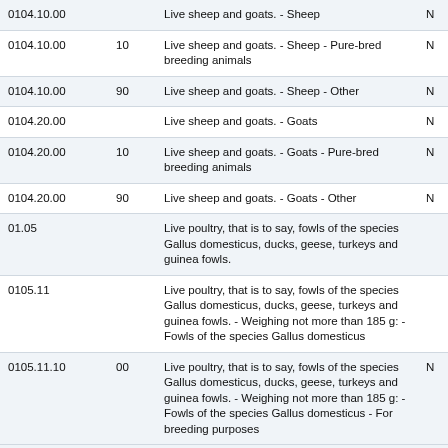| Code | Sub | Description |  |
| --- | --- | --- | --- |
| 0104.10.00 |  | Live sheep and goats. - Sheep | N |
| 0104.10.00 | 10 | Live sheep and goats. - Sheep - Pure-bred breeding animals | N |
| 0104.10.00 | 90 | Live sheep and goats. - Sheep - Other | N |
| 0104.20.00 |  | Live sheep and goats. - Goats | N |
| 0104.20.00 | 10 | Live sheep and goats. - Goats - Pure-bred breeding animals | N |
| 0104.20.00 | 90 | Live sheep and goats. - Goats - Other | N |
| 01.05 |  | Live poultry, that is to say, fowls of the species Gallus domesticus, ducks, geese, turkeys and guinea fowls. |  |
| 0105.11 |  | Live poultry, that is to say, fowls of the species Gallus domesticus, ducks, geese, turkeys and guinea fowls. - Weighing not more than 185 g: - Fowls of the species Gallus domesticus |  |
| 0105.11.10 | 00 | Live poultry, that is to say, fowls of the species Gallus domesticus, ducks, geese, turkeys and guinea fowls. - Weighing not more than 185 g: - Fowls of the species Gallus domesticus - For breeding purposes | N |